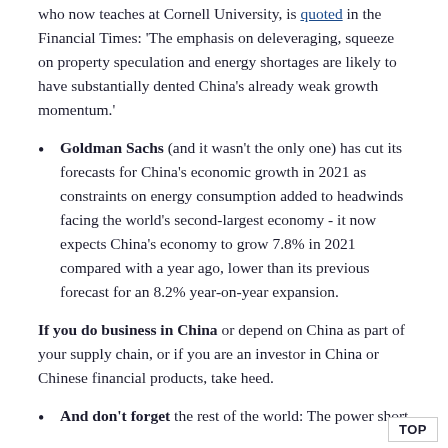who now teaches at Cornell University, is quoted in the Financial Times: 'The emphasis on deleveraging, squeeze on property speculation and energy shortages are likely to have substantially dented China's already weak growth momentum.'
Goldman Sachs (and it wasn't the only one) has cut its forecasts for China's economic growth in 2021 as constraints on energy consumption added to headwinds facing the world's second-largest economy - it now expects China's economy to grow 7.8% in 2021 compared with a year ago, lower than its previous forecast for an 8.2% year-on-year expansion.
If you do business in China or depend on China as part of your supply chain, or if you are an investor in China or Chinese financial products, take heed.
And don't forget the rest of the world: The power short